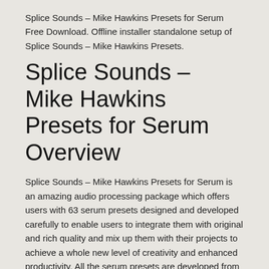Splice Sounds – Mike Hawkins Presets for Serum Free Download. Offline installer standalone setup of Splice Sounds – Mike Hawkins Presets.
Splice Sounds – Mike Hawkins Presets for Serum Overview
Splice Sounds – Mike Hawkins Presets for Serum is an amazing audio processing package which offers users with 63 serum presets designed and developed carefully to enable users to integrate them with original and rich quality and mix up them with their projects to achieve a whole new level of creativity and enhanced productivity. All the serum presets are developed from scratch to make whole processing fresh and original. You can also download Umlaut the Audio – uBEAT Hip-Hop (KONTAKT)